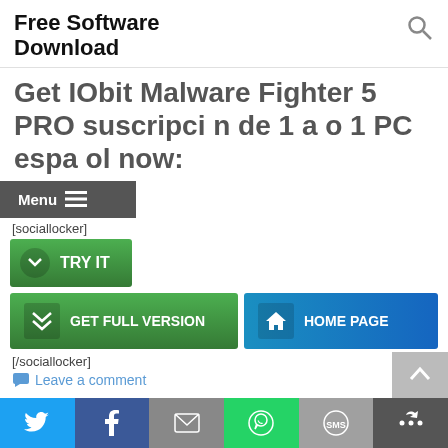Free Software Download
Get IObit Malware Fighter 5 PRO suscripci n de 1 a o 1 PC espa ol now:
Menu ≡
[sociallocker]
[Figure (screenshot): TRY IT button (green with down-arrow chevron icon)]
[Figure (screenshot): GET FULL VERSION button (green with double-chevron icon) and HOME PAGE button (blue with house icon)]
[/sociallocker]
Leave a comment
Social share bar with Twitter, Facebook, Email, WhatsApp, SMS, More icons